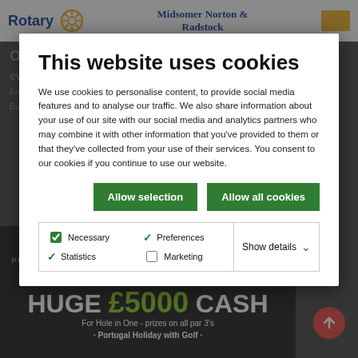Rotary | Midsomer Norton & Radstock
Background website content showing Rotary club events and golf day banner
This website uses cookies
We use cookies to personalise content, to provide social media features and to analyse our traffic. We also share information about your use of our site with our social media and analytics partners who may combine it with other information that you've provided to them or that they've collected from your use of their services. You consent to our cookies if you continue to use our website.
Allow selection | Allow all cookies
Necessary (checked) | Preferences (checked) | Statistics (checked) | Marketing (unchecked) | Show details
[Figure (screenshot): Golf day promotional banner showing HUGE £5000 CASH For Hole in One - prizes on all par 3's and Portugal Holiday with Golf on a black background]
HUGE £5000 CASH For Hole in One - prizes on all par 3's · Portugal Holiday with Golf ·